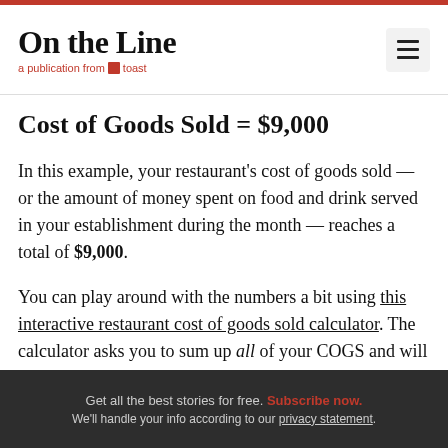On the Line — a publication from Toast
Cost of Goods Sold = $9,000
In this example, your restaurant's cost of goods sold — or the amount of money spent on food and drink served in your establishment during the month — reaches a total of $9,000.
You can play around with the numbers a bit using this interactive restaurant cost of goods sold calculator. The calculator asks you to sum up all of your COGS and will help you break down your food and drink items
Get all the best stories for free. Subscribe now. We'll handle your info according to our privacy statement.